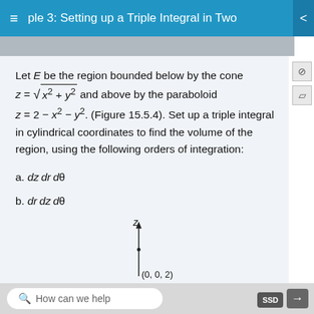ple 3: Setting up a Triple Integral in Two
Let E be the region bounded below by the cone z = sqrt(x^2 + y^2) and above by the paraboloid z = 2 - x^2 - y^2. (Figure 15.5.4). Set up a triple integral in cylindrical coordinates to find the volume of the region, using the following orders of integration:
a. dz dr dθ
b. dr dz dθ
[Figure (engineering-diagram): 3D coordinate system diagram showing z-axis pointing upward with label 'z' and point labeled '(0, 0, 2)' on the z-axis]